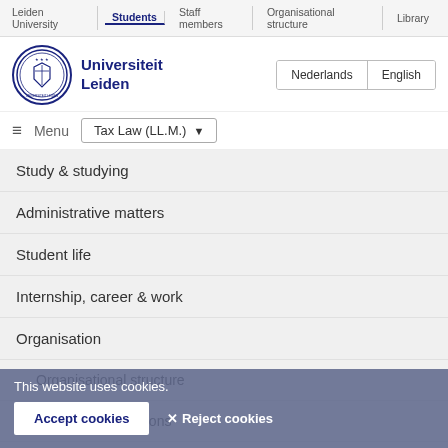Leiden University | Students | Staff members | Organisational structure | Library
[Figure (logo): Universiteit Leiden circular seal/crest logo in navy blue]
Universiteit Leiden
Nederlands
English
≡ Menu   Tax Law (LL.M.) ▾
Study & studying
Administrative matters
Student life
Internship, career & work
Organisation
Organisational structure
Rules and regulations
Documents & information
People in bodies
Faculty councils and programme bodies
This website uses cookies.
Accept cookies   ✕ Reject cookies